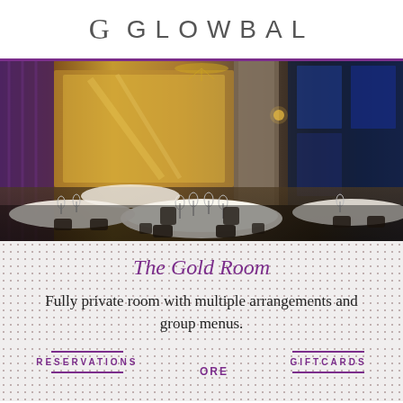G GLOWBAL
[Figure (photo): Interior of The Gold Room restaurant at Glowbal, showing elegantly set round tables with white linens, dark chairs, gold wall panels, and blue-lit windows in the background.]
The Gold Room
Fully private room with multiple arrangements and group menus.
RESERVATIONS | MORE | GIFTCARDS